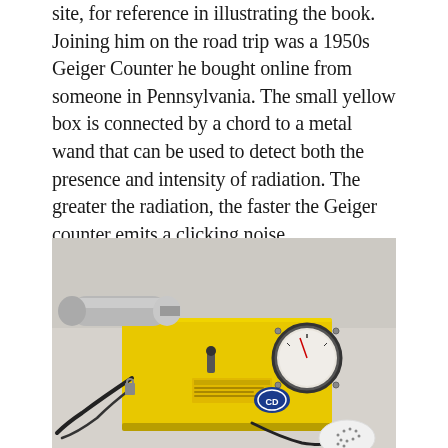site, for reference in illustrating the book. Joining him on the road trip was a 1950s Geiger Counter he bought online from someone in Pennsylvania. The small yellow box is connected by a chord to a metal wand that can be used to detect both the presence and intensity of radiation. The greater the radiation, the faster the Geiger counter emits a clicking noise.
[Figure (photo): Photograph of a vintage 1950s yellow Geiger counter with a circular analog meter on the right side, a cylindrical metal wand/probe attached to the left, black cables/wires, and a small white oval earpiece/speaker at the bottom right. The yellow metal box has a Civil Defense logo and some text labels on it.]